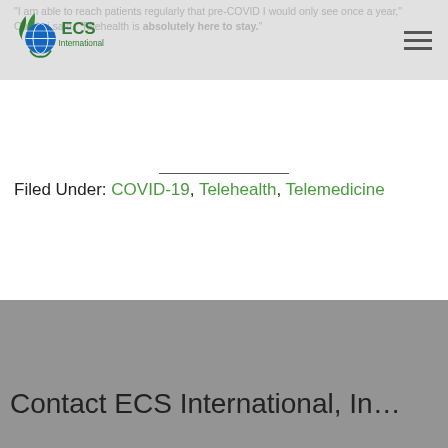ECS International — navigation bar with logo
"I am able to reach patients regularly that pre-COVID I would only see once a year," Cugliari said. "Telehealth is absolutely here to stay."
Filed Under: COVID-19, Telehealth, Telemedicine
Contact ECS International, In...